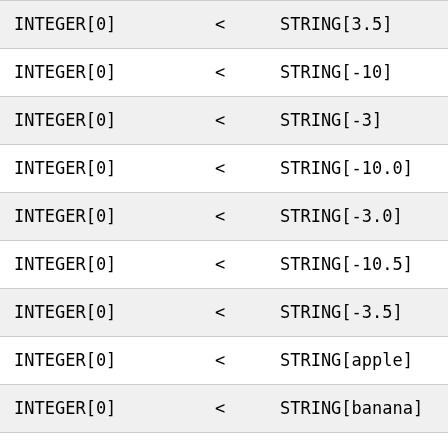| INTEGER[0] | < | STRING[3.5] |
| INTEGER[0] | < | STRING[-10] |
| INTEGER[0] | < | STRING[-3] |
| INTEGER[0] | < | STRING[-10.0] |
| INTEGER[0] | < | STRING[-3.0] |
| INTEGER[0] | < | STRING[-10.5] |
| INTEGER[0] | < | STRING[-3.5] |
| INTEGER[0] | < | STRING[apple] |
| INTEGER[0] | < | STRING[banana] |
| INTEGER[0] | < | STRING[NaN] |
| INTEGER[0] | < | STRING[infinity] |
| INTEGER[0] | < | LIST[[] |